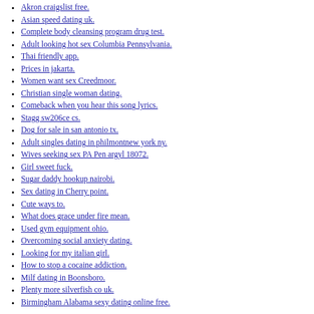Akron craigslist free.
Asian speed dating uk.
Complete body cleansing program drug test.
Adult looking hot sex Columbia Pennsylvania.
Thai friendly app.
Prices in jakarta.
Women want sex Creedmoor.
Christian single woman dating.
Comeback when you hear this song lyrics.
Stagg sw206ce cs.
Dog for sale in san antonio tx.
Adult singles dating in philmontnew york ny.
Wives seeking sex PA Pen argyl 18072.
Girl sweet fuck.
Sugar daddy hookup nairobi.
Sex dating in Cherry point.
Cute ways to.
What does grace under fire mean.
Used gym equipment ohio.
Overcoming social anxiety dating.
Looking for my italian girl.
How to stop a cocaine addiction.
Milf dating in Boonsboro.
Plenty more silverfish co uk.
Birmingham Alabama sexy dating online free.